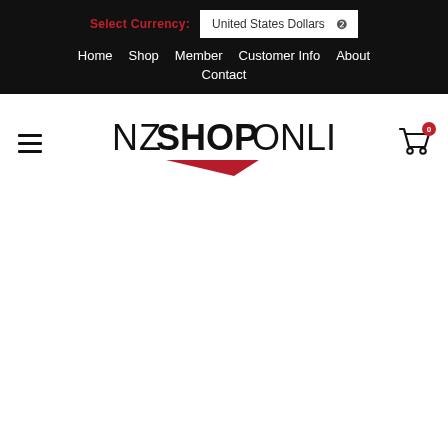Select Currency: United States Dollars
Home  Shop  Member  Customer Info  About  Contact
[Figure (logo): NZSHOPONLINE logo with red chevron/arrow underline]